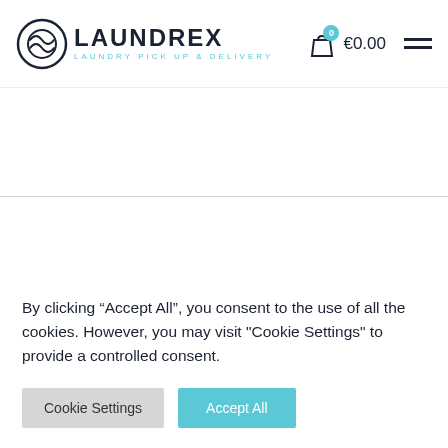[Figure (logo): Laundrex logo with circular icon showing a laundry ball, bold text LAUNDREX and subtitle LAUNDRY PICK UP & DELIVERY]
€0.00
By clicking “Accept All”, you consent to the use of all the cookies. However, you may visit "Cookie Settings" to provide a controlled consent.
Cookie Settings | Accept All